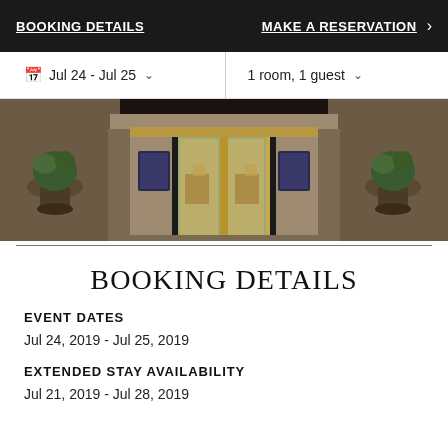BOOKING DETAILS  MAKE A RESERVATION
Jul 24 - Jul 25  1 room, 1 guest
[Figure (photo): Hotel entrance with ornate stone facade, topiary plants in urns, and glass revolving doors, warm interior lighting visible]
BOOKING DETAILS
EVENT DATES
Jul 24, 2019 - Jul 25, 2019
EXTENDED STAY AVAILABILITY
Jul 21, 2019 - Jul 28, 2019